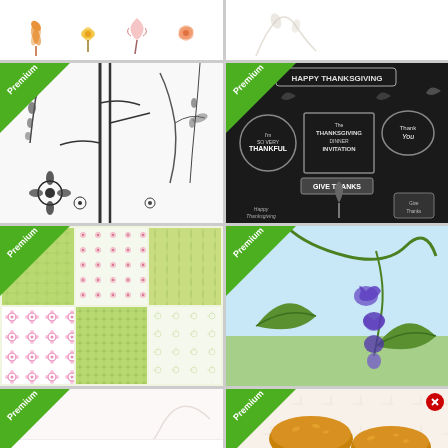[Figure (illustration): Top strip left: orange, yellow, pink flower illustrations on white background]
[Figure (illustration): Top strip right: partial light botanical illustration on white]
[Figure (illustration): Premium badge cell: black and white botanical/floral illustrations including hanging wisteria, bamboo, flowers]
[Figure (illustration): Premium badge cell: dark chalkboard-style Thanksgiving invitation design with text HAPPY THANKSGIVING, GIVE THANKS, Thank You, Thanksgiving Dinner Invitation]
[Figure (illustration): Premium badge cell: six green tile patterns with small floral/leaf motifs, pink flowers]
[Figure (illustration): Premium badge cell: light blue sky background with green leaves and purple physalis/lantern flowers]
[Figure (illustration): Premium badge cell: white background with light swirly botanical line art]
[Figure (illustration): Premium badge cell: McDonald's breakfast sandwiches photo]
buy one breakfast sandwich, get one free
Valid for product of equal or lesser value. Limited time only at participating McDonald's. Valid today. Excludes $1 $2 $3 Dollar Menu. Visit McD.app for details. Download and registration required. ©2022 McDonald's